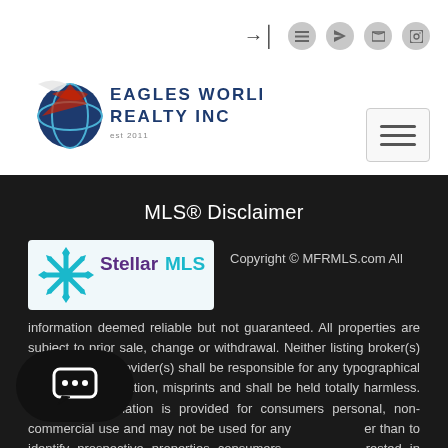[Figure (logo): Eagles World Realty Inc logo with eagle/globe graphic and company name]
MLS® Disclaimer
[Figure (logo): Stellar MLS logo with snowflake/star pattern in teal and purple text]
Copyright © MFRMLS.com All information deemed reliable but not guaranteed. All properties are subject to prior sale, change or withdrawal. Neither listing broker(s) or information provider(s) shall be responsible for any typographical errors, misinformation, misprints and shall be held totally harmless. Listing(s) information is provided for consumers personal, non-commercial use and may not be used for any purpose other than to identify prospective properties consumers may be interested in purchasing. Information on this site was last updated